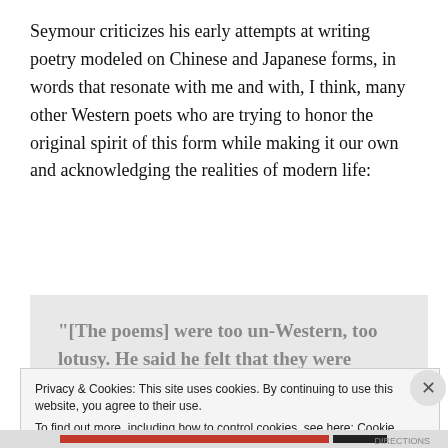Seymour criticizes his early attempts at writing poetry modeled on Chinese and Japanese forms, in words that resonate with me and with, I think, many other Western poets who are trying to honor the original spirit of this form while making it our own and acknowledging the realities of modern life:
“[The poems] were too un-Western, too lotusy. He said he felt that they were faintly affronting. He hadn’t quite made up his mind where the affronting came
Privacy & Cookies: This site uses cookies. By continuing to use this website, you agree to their use.
To find out more, including how to control cookies, see here: Cookie Policy
Close and accept